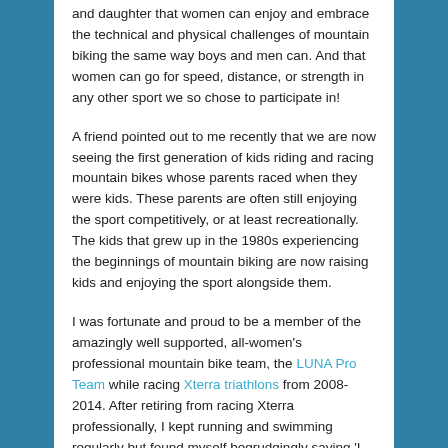and daughter that women can enjoy and embrace the technical and physical challenges of mountain biking the same way boys and men can. And that women can go for speed, distance, or strength in any other sport we so chose to participate in!
A friend pointed out to me recently that we are now seeing the first generation of kids riding and racing mountain bikes whose parents raced when they were kids. These parents are often still enjoying the sport competitively, or at least recreationally. The kids that grew up in the 1980s experiencing the beginnings of mountain biking are now raising kids and enjoying the sport alongside them.
I was fortunate and proud to be a member of the amazingly well supported, all-women's professional mountain bike team, the LUNA Pro Team while racing Xterra triathlons from 2008-2014. After retiring from racing Xterra professionally, I kept running and swimming regularly but found myself begrudgingly saying 'I don't have time to ride'. After a certain amount of self-